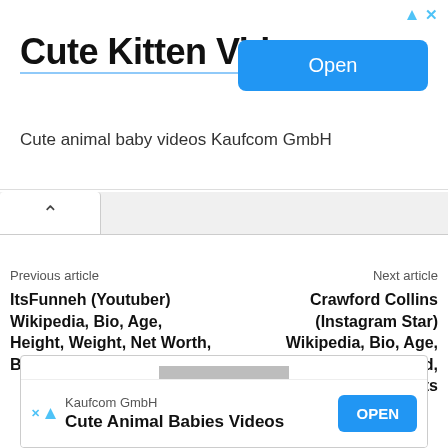[Figure (screenshot): Advertisement banner for 'Cute Kitten Videos' by Kaufcom GmbH with an Open button]
Cute Kitten Videos
Cute animal baby videos Kaufcom GmbH
Previous article
ItsFunneh (Youtuber) Wikipedia, Bio, Age, Height, Weight, Net Worth, Boyfriend, Career, Facts
Next article
Crawford Collins (Instagram Star) Wikipedia, Bio, Age, Height, Weight, Girlfriend, Net Worth, Family, Facts
[Figure (screenshot): Profile placeholder image with gray background and white circle, and bottom ad for Kaufcom GmbH Cute Animal Babies Videos]